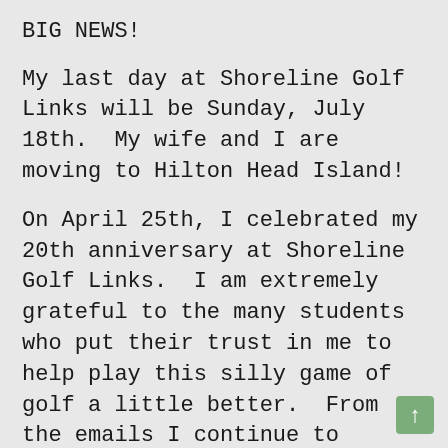BIG NEWS!
My last day at Shoreline Golf Links will be Sunday, July 18th.  My wife and I are moving to Hilton Head Island!
On April 25th, I celebrated my 20th anniversary at Shoreline Golf Links.  I am extremely grateful to the many students who put their trust in me to help play this silly game of golf a little better.  From the emails I continue to receive, I have to think I did a pretty good job!
I will miss all of my golf family at Shoreline.   I will continue to remain in